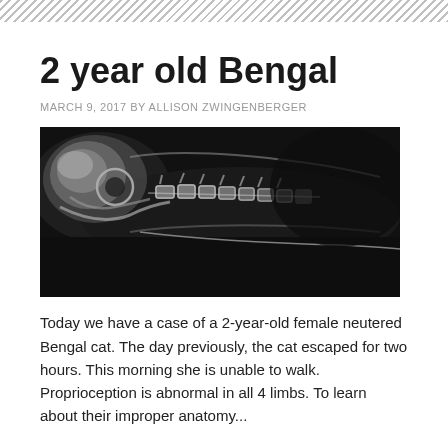2 year old Bengal
MARCH 9, 2017 BY ALLISON ZWINGENBERGER
[Figure (photo): Black and white lateral radiograph (X-ray) of a cat's cervical spine and skull, showing vertebral anatomy from head to thoracic region.]
Today we have a case of a 2-year-old female neutered Bengal cat. The day previously, the cat escaped for two hours. This morning she is unable to walk. Proprioception is abnormal in all 4 limbs. To learn about their improper anatomy...